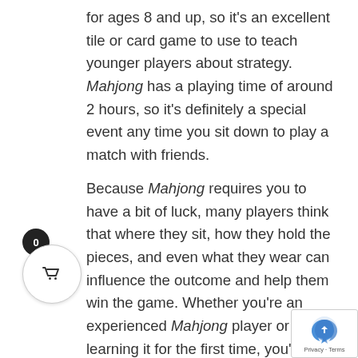for ages 8 and up, so it's an excellent tile or card game to use to teach younger players about strategy. Mahjong has a playing time of around 2 hours, so it's definitely a special event any time you sit down to play a match with friends.
Because Mahjong requires you to have a bit of luck, many players think that where they sit, how they hold the pieces, and even what they wear can influence the outcome and help them win the game. Whether you're an experienced Mahjong player or you're learning it for the first time, you'll be sure to appreciate the rich and beautiful history of this game. Buy Mahjong today and may the winds blow in your favor!